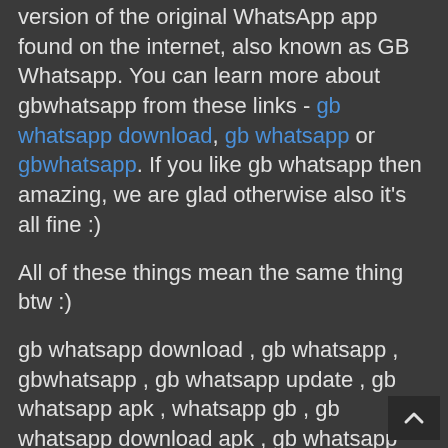version of the original WhatsApp app found on the internet, also known as GB Whatsapp. You can learn more about gbwhatsapp from these links - gb whatsapp download, gb whatsapp or gbwhatsapp. If you like gb whatsapp then amazing, we are glad otherwise also it's all fine :)
All of these things mean the same thing btw :)
gb whatsapp download , gb whatsapp , gbwhatsapp , gb whatsapp update , gb whatsapp apk , whatsapp gb , gb whatsapp download apk , gb whatsapp pro , gb whatsapp download , gb whatsapp ,